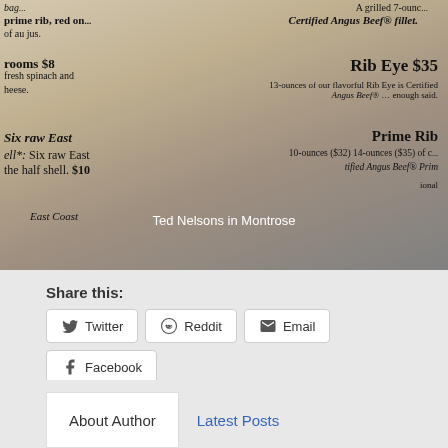[Figure (photo): Photo of a restaurant menu showing items including Rib Eye $35, Prime Rib, oysters at $10, with caption 'Ted Nelsons in Montrose']
Share this:
Twitter  Reddit  Email  Facebook  WhatsApp  More
Arizona, Los Alamos, monument valley, Motorcycle Trip, New Mexico, Utah, Victor Colorado, Yamaha Tracer 900 GT
Previous Post
Next Post
About Author  Latest Posts